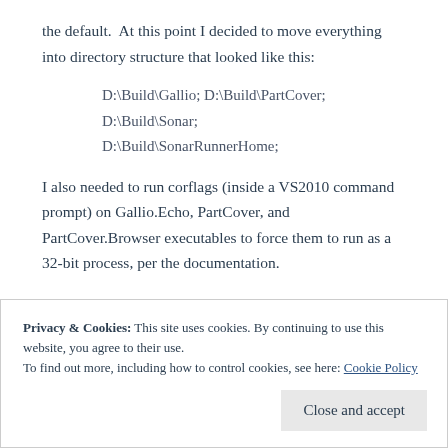the default.  At this point I decided to move everything into directory structure that looked like this:
D:\Build\Gallio; D:\Build\PartCover; D:\Build\Sonar; D:\Build\SonarRunnerHome;
I also needed to run corflags (inside a VS2010 command prompt) on Gallio.Echo, PartCover, and PartCover.Browser executables to force them to run as a 32-bit process, per the documentation.
Privacy & Cookies: This site uses cookies. By continuing to use this website, you agree to their use.
To find out more, including how to control cookies, see here: Cookie Policy
Close and accept